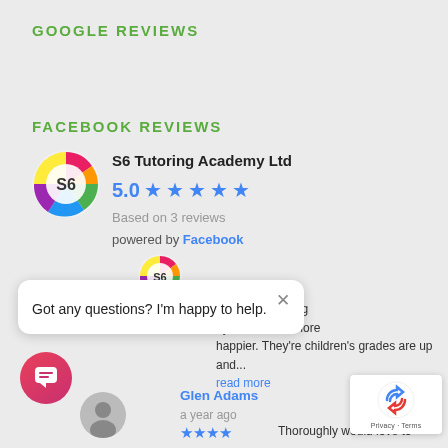GOOGLE REVIEWS
FACEBOOK REVIEWS
[Figure (logo): S6 Tutoring Academy Ltd colorful logo circle with S6 text]
S6 Tutoring Academy Ltd
5.0 ★★★★★
Based on 3 reviews
powered by Facebook
[Figure (logo): S6 small logo circle in chat popup area]
Got any questions? I'm happy to help.
nded this tutoring ey couldn't be more happier. They're children's grades are up and...
read more
Glen Adams
a year ago
★★★★
Thoroughly would love to
[Figure (other): Chat button pink circle with speech bubble icon]
[Figure (other): reCAPTCHA badge with Privacy and Terms text]